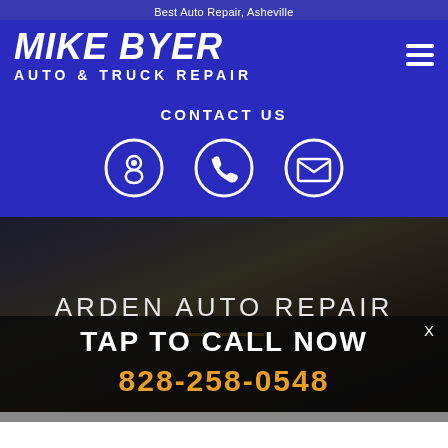Best Auto Repair, Asheville
MIKE BYER AUTO & TRUCK REPAIR
CONTACT US
[Figure (infographic): Three circular white-outlined icons on blue background: location pin, phone handset, envelope (mail)]
ARDEN AUTO REPAIR
TAP TO CALL NOW
828-258-0548